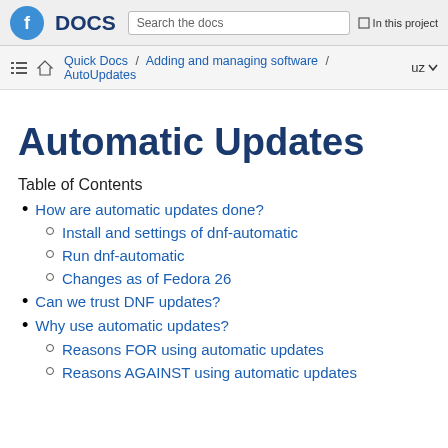Fedora DOCS — Search the docs — In this project
Quick Docs / Adding and managing software / AutoUpdates — uz
Automatic Updates
Table of Contents
How are automatic updates done?
Install and settings of dnf-automatic
Run dnf-automatic
Changes as of Fedora 26
Can we trust DNF updates?
Why use automatic updates?
Reasons FOR using automatic updates
Reasons AGAINST using automatic updates